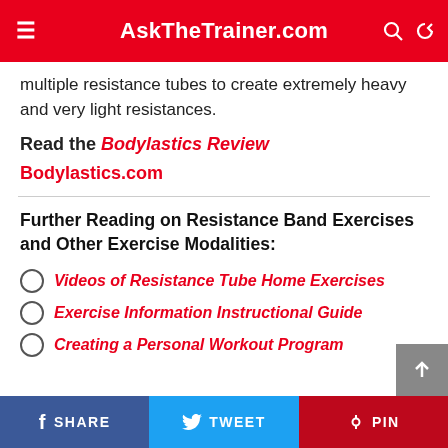AskTheTrainer.com
multiple resistance tubes to create extremely heavy and very light resistances.
Read the Bodylastics Review
Bodylastics.com
Further Reading on Resistance Band Exercises and Other Exercise Modalities:
Videos of Resistance Tube Home Exercises
Exercise Information Instructional Guide
Creating a Personal Workout Program
SHARE  TWEET  PIN